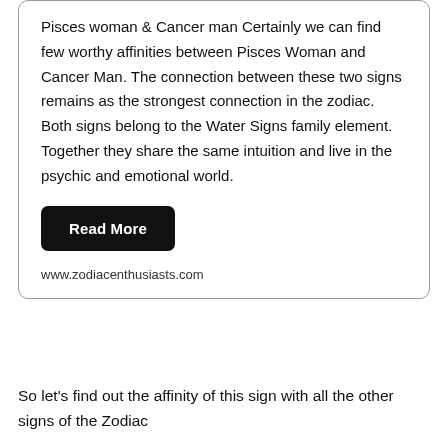Pisces woman & Cancer man Certainly we can find few worthy affinities between Pisces Woman and Cancer Man. The connection between these two signs remains as the strongest connection in the zodiac. Both signs belong to the Water Signs family element. Together they share the same intuition and live in the psychic and emotional world.
Read More
www.zodiacenthusiasts.com
So let's find out the affinity of this sign with all the other signs of the Zodiac